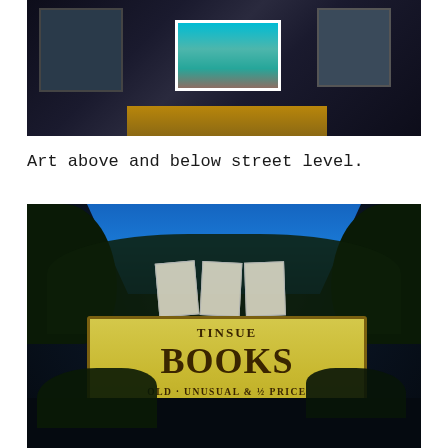[Figure (photo): Photograph of an art gallery or building exterior showing large windows with artwork displayed, including a backlit landscape photograph, viewed from below at an angle. Dark architectural structure with illuminated interior.]
Art above and below street level.
[Figure (photo): Photograph of a weathered yellow wooden bookstore sign reading 'TINSUE BOOKS OLD UNUSUAL & ½ PRICE NEWER BOOKS' surrounded by dark foliage and blue night sky.]